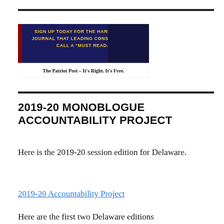[Figure (other): Advertisement banner for The Patriot Post. Dark navy/red background with gold text: 'SIGN UP TODAY FOR THE HARD-HITTING JOURNAL THAT LEADING CONSERVATIVES CALL A "MUST READ."' White bottom strip with black text: 'The Patriot Post – It's Right. It's Free.']
2019-20 MONOBLOGUE ACCOUNTABILITY PROJECT
Here is the 2019‑20 session edition for Delaware.
2019‑20 Accountability Project
Here are the first two Delaware editions